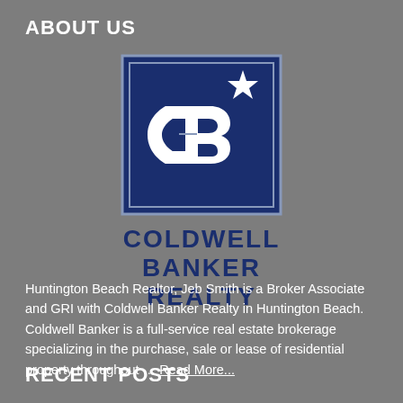ABOUT US
[Figure (logo): Coldwell Banker Realty logo — dark navy square with white CB monogram and star, with company name COLDWELL BANKER REALTY below in navy bold uppercase letters]
Huntington Beach Realtor, Jeb Smith is a Broker Associate and GRI with Coldwell Banker Realty in Huntington Beach. Coldwell Banker is a full-service real estate brokerage specializing in the purchase, sale or lease of residential property throughout … Read More...
RECENT POSTS